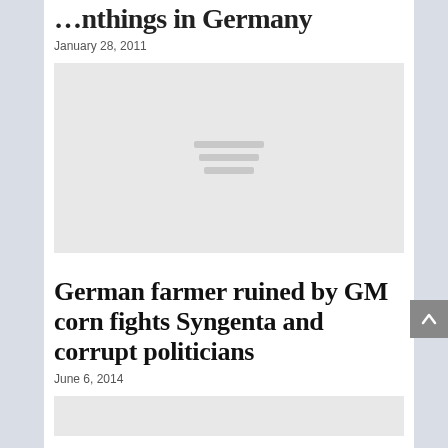…nthings in Germany
January 28, 2011
[Figure (photo): Gray placeholder image with loading indicator lines]
German farmer ruined by GM corn fights Syngenta and corrupt politicians
June 6, 2014
[Figure (photo): Partial gray placeholder image at bottom]